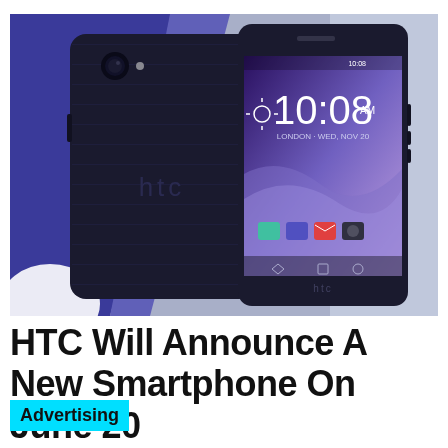[Figure (photo): Two HTC smartphones shown front and back — one dark navy/black showing the back with HTC logo and camera, and one showing the front screen with time 10:08 and Android home screen icons. Background has blue and light purple geometric shapes.]
HTC Will Announce A New Smartphone On June 20
Advertising